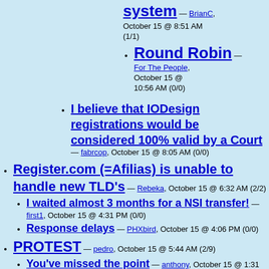system — BrianC, October 15 @ 8:51 AM (1/1)
Round Robin — For The People, October 15 @ 10:56 AM (0/0)
I believe that IODesign registrations would be considered 100% valid by a Court — fabrcop, October 15 @ 8:05 AM (0/0)
Register.com (=Afilias) is unable to handle new TLD's — Rebeka, October 15 @ 6:32 AM (2/2)
I waited almost 3 months for a NSI transfer! — first1, October 15 @ 4:31 PM (0/0)
Response delays — PHXbird, October 15 @ 4:06 PM (0/0)
PROTEST — pedro, October 15 @ 5:44 AM (2/9)
You've missed the point — anthony, October 15 @ 1:31 PM (1/1)
.com — For The People, October 15 @ 2:32 PM (0/0)
I STRONGLY disagree. — larreeee, October 15 @ 6:28 AM (2/6)
Say NO! to generic TLDS — korskarn, October 15 @ 5:24 PM (0/0)
you are off topic — pedro, October 15 @